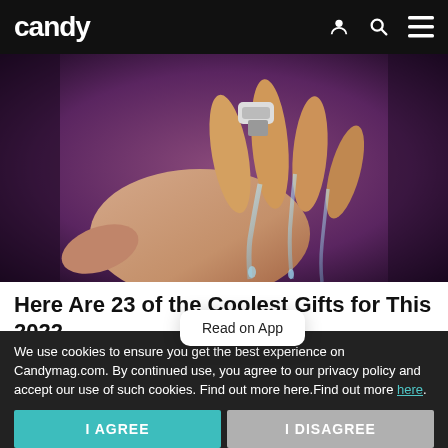candy
[Figure (photo): Close-up photo of a hand with water flowing over fingers, wearing a small device on the back of the hand, on a dark background with purple and maroon tones.]
Here Are 23 of the Coolest Gifts for This 2022
Read on App
CoolGifts | Sponsored
Learn More
We use cookies to ensure you get the best experience on Candymag.com. By continued use, you agree to our privacy policy and accept our use of such cookies. Find out more here.Find out more here.
I AGREE
I DISAGREE